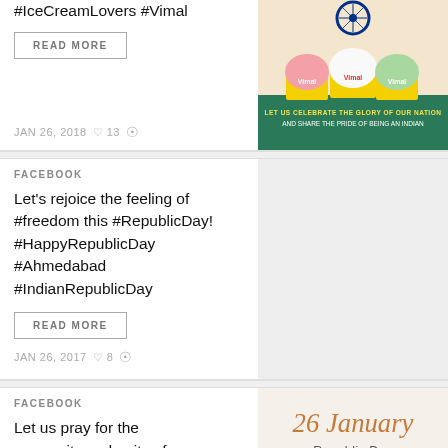#IceCreamLovers #Vimal
READ MORE
[Figure (photo): Vimal ice cream cups with tri-color scoops and Indian Republic Day messaging: 'Let us celebrate the glory of our nation and share the pride of being an Indian']
JAN 26, 2018  ♡ 13
FACEBOOK
Let's rejoice the feeling of #freedom this #RepublicDay! #HappyRepublicDay #Ahmedabad #IndianRepublicDay
READ MORE
JAN 26, 2017  ♡ 8
FACEBOOK
Let us pray for the prosperity and unity of
[Figure (illustration): 26 January Republic Day decorative text graphic in orange/brown script font]